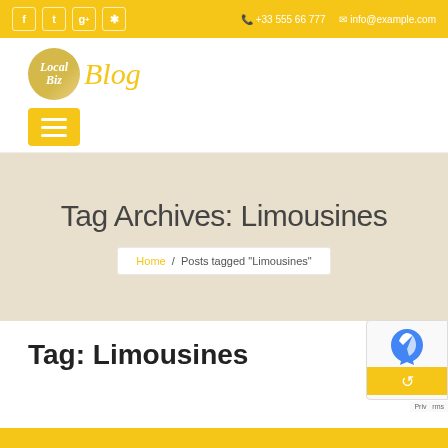Social icons | +33 555 66 777 | info@example.com
[Figure (logo): LocalBiz Blog logo with yellow circle and italic text]
[Figure (other): Yellow hamburger menu button]
Tag Archives: Limousines
Home / Posts tagged "Limousines"
Tag: Limousines